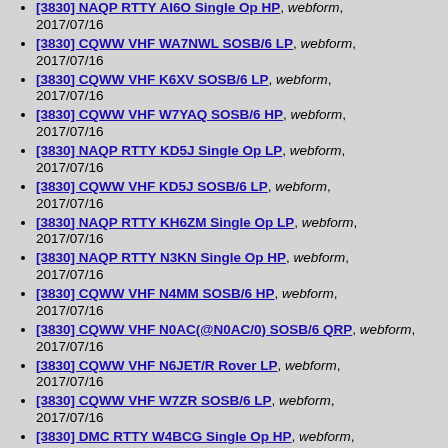[3830] NAQP RTTY AI6O Single Op HP, webform, 2017/07/16
[3830] CQWW VHF WA7NWL SOSB/6 LP, webform, 2017/07/16
[3830] CQWW VHF K6XV SOSB/6 LP, webform, 2017/07/16
[3830] CQWW VHF W7YAQ SOSB/6 HP, webform, 2017/07/16
[3830] NAQP RTTY KD5J Single Op LP, webform, 2017/07/16
[3830] CQWW VHF KD5J SOSB/6 LP, webform, 2017/07/16
[3830] NAQP RTTY KH6ZM Single Op LP, webform, 2017/07/16
[3830] NAQP RTTY N3KN Single Op HP, webform, 2017/07/16
[3830] CQWW VHF N4MM SOSB/6 HP, webform, 2017/07/16
[3830] CQWW VHF N0AC(@N0AC/0) SOSB/6 QRP, webform, 2017/07/16
[3830] CQWW VHF N6JET/R Rover LP, webform, 2017/07/16
[3830] CQWW VHF W7ZR SOSB/6 LP, webform, 2017/07/16
[3830] DMC RTTY W4BCG Single Op HP, webform, 2017/07/16